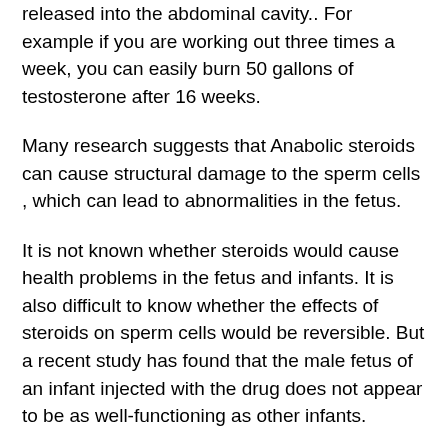released into the abdominal cavity.. For example if you are working out three times a week, you can easily burn 50 gallons of testosterone after 16 weeks.
Many research suggests that Anabolic steroids can cause structural damage to the sperm cells , which can lead to abnormalities in the fetus.
It is not known whether steroids would cause health problems in the fetus and infants. It is also difficult to know whether the effects of steroids on sperm cells would be reversible. But a recent study has found that the male fetus of an infant injected with the drug does not appear to be as well-functioning as other infants.
The Drug-Induced Prenatal Depression